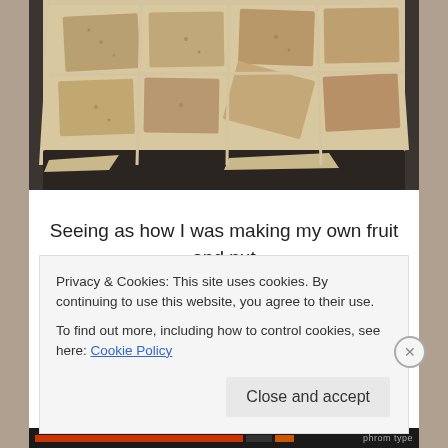[Figure (photo): Overhead photo of homemade fruit and nut bars cut into squares and triangles on parchment paper on a dark baking tray]
Seeing as how I was making my own fruit and nut
Privacy & Cookies: This site uses cookies. By continuing to use this website, you agree to their use.
To find out more, including how to control cookies, see here: Cookie Policy
Close and accept